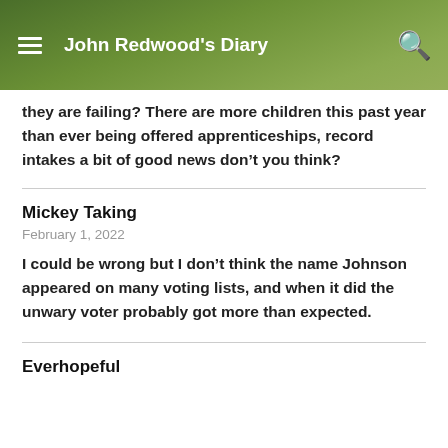John Redwood's Diary
they are failing? There are more children this past year than ever being offered apprenticeships, record intakes a bit of good news don't you think?
Mickey Taking
February 1, 2022
I could be wrong but I don't think the name Johnson appeared on many voting lists, and when it did the unwary voter probably got more than expected.
Everhopeful